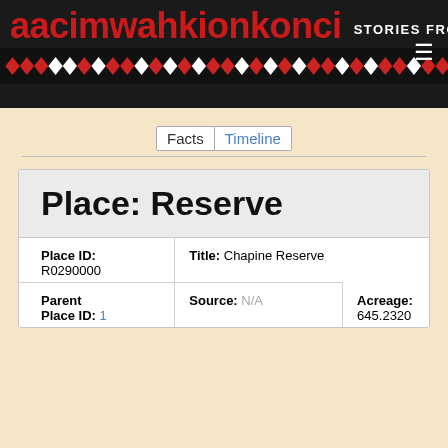aacimwahkionkonci STORIES FROM THE LAND
[Figure (illustration): Decorative beadwork bar with red and white diamond/chevron pattern on black background]
Facts | Timeline
Place: Reserve
| Place ID: | Title: |
| --- | --- |
| R0290000 | Chapine Reserve |
| Parent Place ID: 1 | Source: N/A | Acreage: 645.2320 |